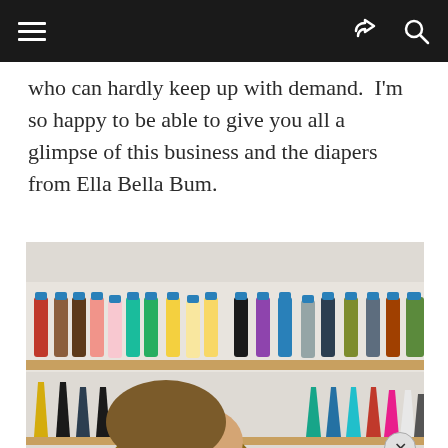Navigation bar with hamburger menu, share icon, and search icon
who can hardly keep up with demand.  I’m so happy to be able to give you all a glimpse of this business and the diapers from Ella Bella Bum.
[Figure (photo): A woman with long brown hair smiling, seated in front of shelves of colorful thread spools arranged in rows]